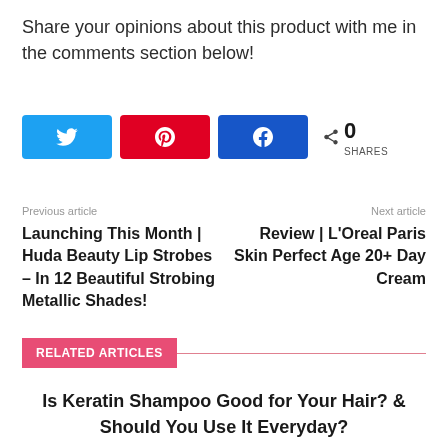Share your opinions about this product with me in the comments section below!
[Figure (infographic): Social share buttons: Twitter (blue), Pinterest (red), Facebook (blue), and share count showing 0 SHARES]
Previous article
Next article
Launching This Month | Huda Beauty Lip Strobes – In 12 Beautiful Strobing Metallic Shades!
Review | L'Oreal Paris Skin Perfect Age 20+ Day Cream
RELATED ARTICLES
Is Keratin Shampoo Good for Your Hair? & Should You Use It Everyday?